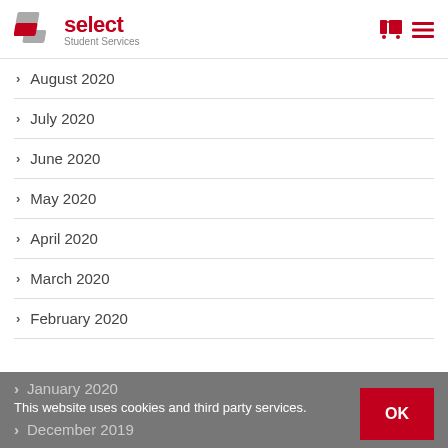[Figure (logo): Select Student Services logo with red and grey interlocking shapes and red 'select' text with grey 'Student Services' subtitle]
> August 2020
> July 2020
> June 2020
> May 2020
> April 2020
> March 2020
> February 2020
> January 2020
This website uses cookies and third party services.
> December 2019